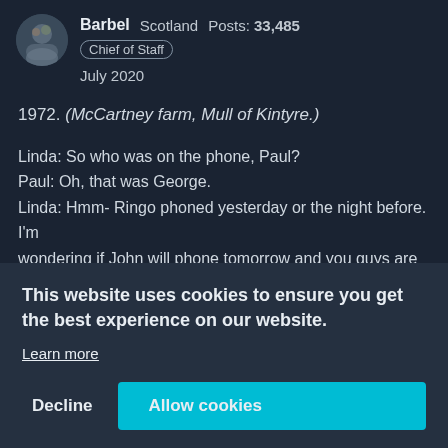[Figure (photo): Circular avatar photo of user Barbel]
Barbel   Scotland   Posts: 33,485
Chief of Staff
July 2020
1972. (McCartney farm, Mull of Kintyre.)
Linda: So who was on the phone, Paul?
Paul: Oh, that was George.
Linda: Hmm- Ringo phoned yesterday or the night before. I'm wondering if John will phone tomorrow and you guys are
This website uses cookies to ensure you get the best experience on our website.
Learn more
Decline
Allow cookies